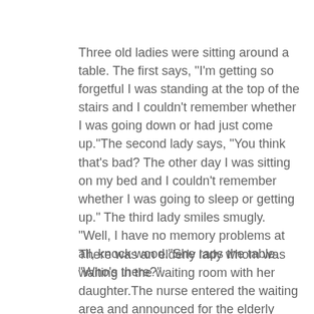Three old ladies were sitting around a table. The first says, "I'm getting so forgetful I was standing at the top of the stairs and I couldn't remember whether I was going down or had just come up."The second lady says, "You think that's bad? The other day I was sitting on my bed and I couldn't remember whether I was going to sleep or getting up." The third lady smiles smugly. "Well, I have no memory problems at all, knock wood."She raps the table. "Who's there?"
There was an elderly lady whom was waiting in the waiting room with her daughter.The nurse entered the waiting area and announced for the elderly lady to go on back to see the doctor. The